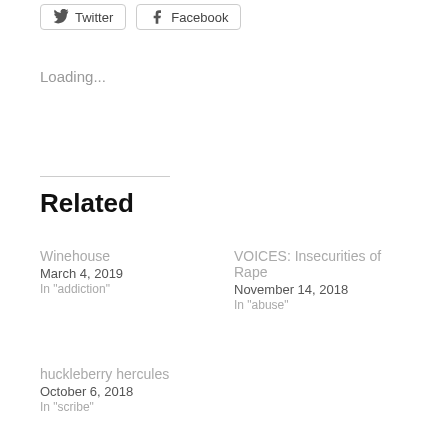[Figure (other): Twitter and Facebook share buttons at top of page]
Loading...
Related
Winehouse
March 4, 2019
In "addiction"
VOICES: Insecurities of Rape
November 14, 2018
In "abuse"
huckleberry hercules
October 6, 2018
In "scribe"